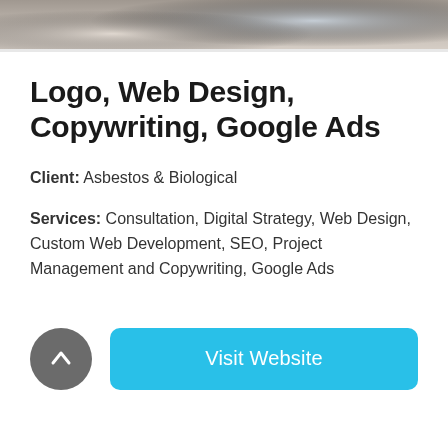[Figure (photo): Cropped photo strip showing hands, possibly using a digital device, with light tones]
Logo, Web Design, Copywriting, Google Ads
Client: Asbestos & Biological
Services: Consultation, Digital Strategy, Web Design, Custom Web Development, SEO, Project Management and Copywriting, Google Ads